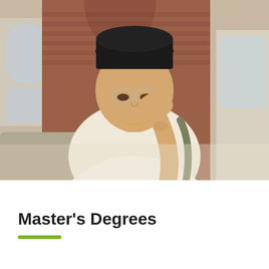[Figure (photo): Young man wearing a black beanie hat and clear-framed glasses, leaning forward with his hand raised to his face, wearing a white t-shirt. Brick wall with arched windows visible in the background.]
Master's Degrees